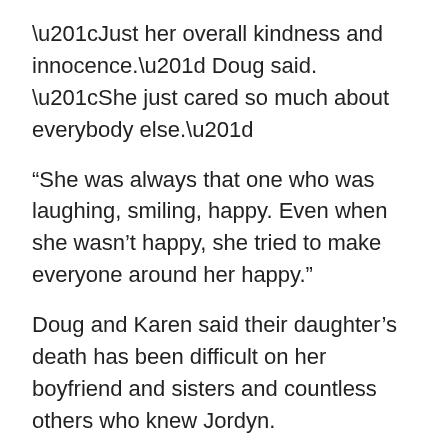“Just her overall kindness and innocence.” Doug said. “She just cared so much about everybody else.”
“She was always that one who was laughing, smiling, happy. Even when she wasn’t happy, she tried to make everyone around her happy.”
Doug and Karen said their daughter’s death has been difficult on her boyfriend and sisters and countless others who knew Jordyn.
“She brought our family sheer joy and happiness,” Karen said. “She was the glue for her sisters, their bonds.”
They’re cherishing a blanket and stuffed animal their daughter had kept with her since she was